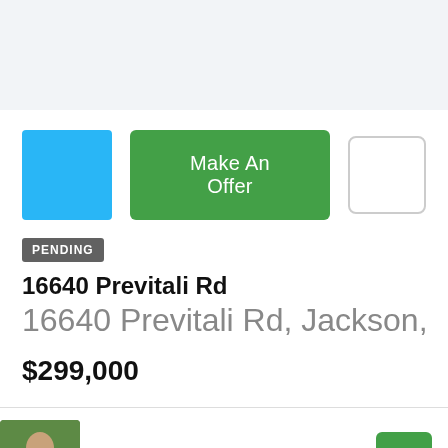[Figure (other): Blue square placeholder image thumbnail]
Make An Offer
[Figure (other): White empty square box]
PENDING
16640 Previtali Rd
16640 Previtali Rd, Jackson,
$299,000
[Figure (photo): Agent profile photo showing a person outdoors with greenery]
palomapollinators
[Figure (other): Green square button]